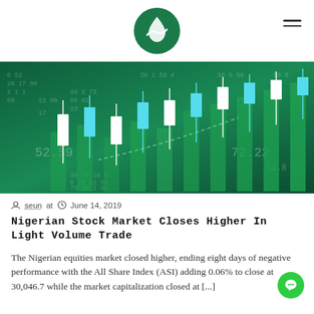Logo and navigation header
[Figure (photo): Stock market candlestick chart on dark green background with numeric data overlay, showing candlestick patterns and bar volumes with numbers like 52.59 and 72.22]
seun at  June 14, 2019
Nigerian Stock Market Closes Higher In Light Volume Trade
The Nigerian equities market closed higher, ending eight days of negative performance with the All Share Index (ASI) adding 0.06% to close at 30,046.7 while the market capitalization closed at [...]